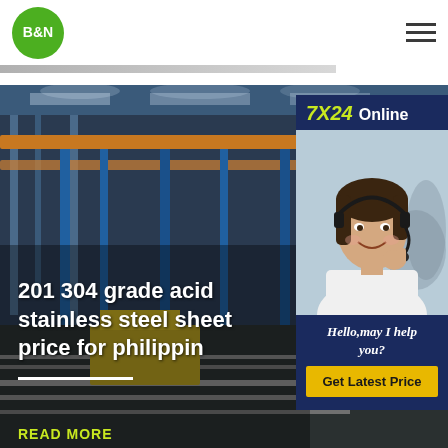B&N
[Figure (photo): Industrial factory interior with steel manufacturing equipment, cranes, and metal tracks. Dark blue/teal toned warehouse with overhead lighting.]
201 304 grade acid stainless steel sheet price for philippin
[Figure (photo): Customer service representative wearing a headset, smiling, with a 7X24 Online banner and Get Latest Price button on a dark blue background.]